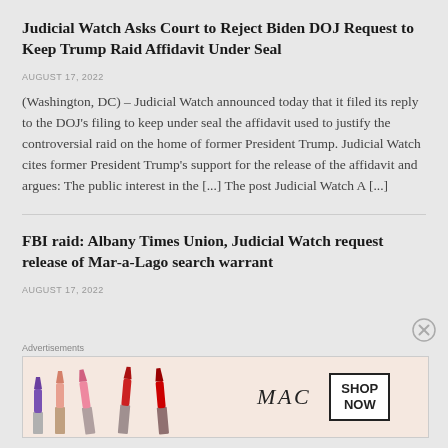Judicial Watch Asks Court to Reject Biden DOJ Request to Keep Trump Raid Affidavit Under Seal
AUGUST 17, 2022
(Washington, DC) – Judicial Watch announced today that it filed its reply to the DOJ's filing to keep under seal the affidavit used to justify the controversial raid on the home of former President Trump. Judicial Watch cites former President Trump's support for the release of the affidavit and argues: The public interest in the [...] The post Judicial Watch A [...]
FBI raid: Albany Times Union, Judicial Watch request release of Mar-a-Lago search warrant
AUGUST 17, 2022
[Figure (advertisement): MAC Cosmetics advertisement showing lipsticks in various colors (purple, peach, pink, red) with MAC logo and SHOP NOW button]